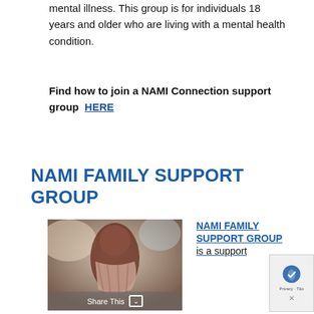mental illness. This group is for individuals 18 years and older who are living with a mental health condition.
Find how to join a NAMI Connection support group HERE
NAMI FAMILY SUPPORT GROUP
[Figure (photo): A person wearing a patterned scarf in a blurred indoor setting]
NAMI FAMILY SUPPORT GROUP is a support